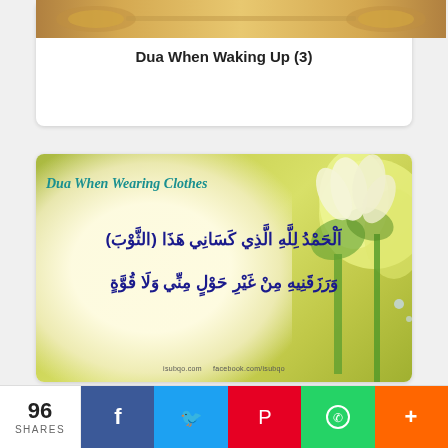[Figure (illustration): Decorative wooden carved plaque image at top of card]
Dua When Waking Up (3)
[Figure (illustration): Islamic dua card with flowers background showing 'Dua When Wearing Clothes' in English and Arabic text]
96 SHARES
Facebook | Twitter | Pinterest | WhatsApp | More share buttons